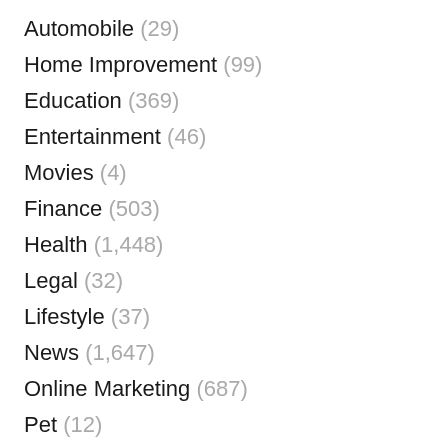Automobile (29)
Home Improvement (99)
Education (369)
Entertainment (46)
Movies (4)
Finance (503)
Health (1,448)
Legal (32)
Lifestyle (37)
News (1,647)
Online Marketing (687)
Pet (12)